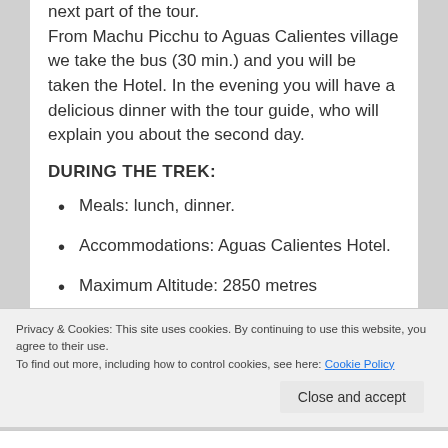next part of the tour.
From Machu Picchu to Aguas Calientes village we take the bus (30 min.) and you will be taken the Hotel. In the evening you will have a delicious dinner with the tour guide, who will explain you about the second day.
DURING THE TREK:
Meals: lunch, dinner.
Accommodations: Aguas Calientes Hotel.
Maximum Altitude: 2850 metres
Privacy & Cookies: This site uses cookies. By continuing to use this website, you agree to their use.
To find out more, including how to control cookies, see here: Cookie Policy
Close and accept